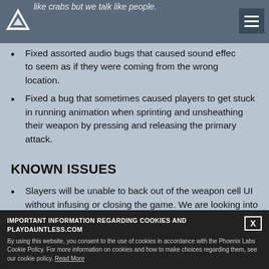like crabs but we talk like people.
Fixed assorted audio bugs that caused sound effects to seem as if they were coming from the wrong location.
Fixed a bug that sometimes caused players to get stuck in running animation when sprinting and unsheathing their weapon by pressing and releasing the primary attack.
KNOWN ISSUES
Slayers will be unable to back out of the weapon cell UI without infusing or closing the game. We are looking into the cause and working on a fix.
Island Arrival emotes may not play when dropping into … investigating this and working on a … equipped with
IMPORTANT INFORMATION REGARDING COOKIES AND PLAYDAUNTLESS.COM
By using this website, you consent to the use of cookies in accordance with the Phoenix Labs Cookie Policy. For more information on cookies and how to make choices regarding them, see our cookie policy. Read More